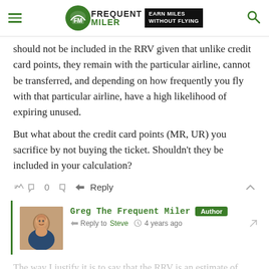Frequent Miler — Earn Miles Without Flying
should not be included in the RRV given that unlike credit card points, they remain with the particular airline, cannot be transferred, and depending on how frequently you fly with that particular airline, have a high likelihood of expiring unused.
But what about the credit card points (MR, UR) you sacrifice by not buying the ticket. Shouldn't they be included in your calculation?
0  Reply
Greg The Frequent Miler  Author  Reply to Steve  4 years ago
The way I justify it is to say that the RRV is an estimate of how much money you save at the time of purchase